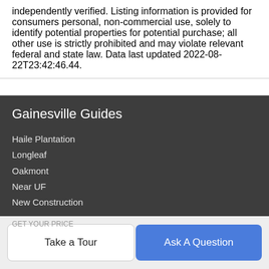independently verified. Listing information is provided for consumers personal, non-commercial use, solely to identify potential properties for potential purchase; all other use is strictly prohibited and may violate relevant federal and state law. Data last updated 2022-08-22T23:42:46.44.
Gainesville Guides
Haile Plantation
Longleaf
Oakmont
Near UF
New Construction
Company